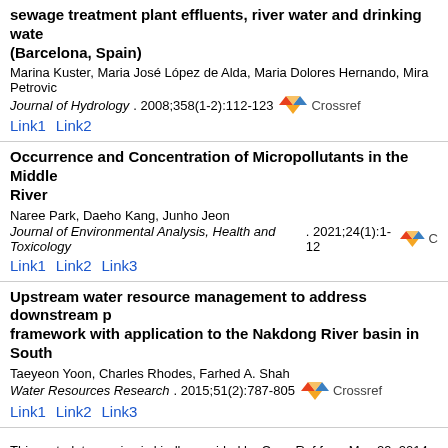sewage treatment plant effluents, river water and drinking water (Barcelona, Spain)
Marina Kuster, Maria José López de Alda, Maria Dolores Hernando, Mira Petrovic
Journal of Hydrology. 2008;358(1-2):112-123 [Crossref]
Link1 Link2
Occurrence and Concentration of Micropollutants in the Middle River
Naree Park, Daeho Kang, Junho Jeon
Journal of Environmental Analysis, Health and Toxicology. 2021;24(1):1-12 [Crossref]
Link1 Link2 Link3
Upstream water resource management to address downstream pollution: a framework with application to the Nakdong River basin in South Korea
Taeyeon Yoon, Charles Rhodes, Farhed A. Shah
Water Resources Research. 2015;51(2):787-805 [Crossref]
Link1 Link2 Link3
This metadata service is kindly provided by CrossRef from May 29, 2014. J Korea CrossRef Text and Data Mining service since October 29, 2014.